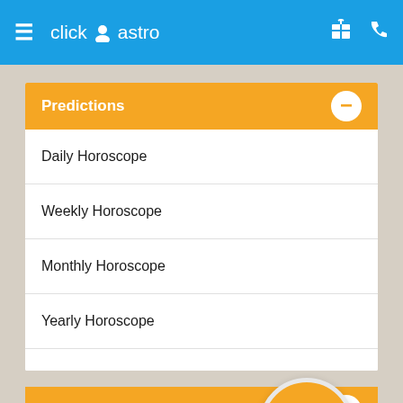click astro
Predictions
Daily Horoscope
Weekly Horoscope
Monthly Horoscope
Yearly Horoscope
Free Reports
Couple Horoscope Free
Horoscope Free
Free marriage predictions
[Figure (illustration): Gift box icon circle overlay on Free Reports section]